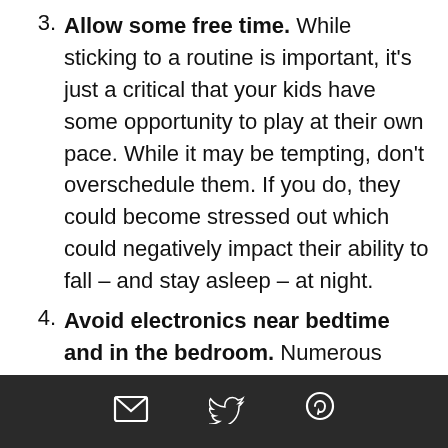3. Allow some free time. While sticking to a routine is important, it's just a critical that your kids have some opportunity to play at their own pace. While it may be tempting, don't overschedule them. If you do, they could become stressed out which could negatively impact their ability to fall – and stay asleep – at night.
4. Avoid electronics near bedtime and in the bedroom. Numerous studies have shown that the use of electronics can hinder the ability to
[email icon] [twitter icon] [pinterest icon]